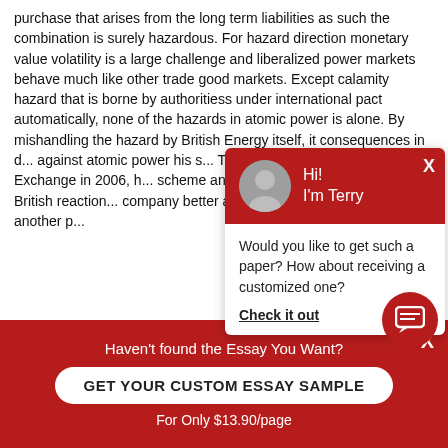purchase that arises from the long term liabilities as such the combination is surely hazardous. For hazard direction monetary value volatility is a large challenge and liberalized power markets behave much like other trade good markets. Except calamity hazard that is borne by authoritiess under international pact automatically, none of the hazards in atomic power is alone. By mishandling the hazard by British Energy itself, it consequences in d... against atomic power his s... The “ new ” British Energy ... Stock Exchange in 2006, h... scheme and is paying the a... of the being British reaction... company better and the po... successfully like another p...
Related Posts:
Business Strategies Of Mc Donalds Marketing Essay
[Figure (other): Chat popup with avatar of Terry, header in dark red with 'Hi! I'm Terry', body text 'Would you like to get such a paper? How about receiving a customized one?' and 'Check it out' link]
[Figure (other): Red circular chat icon button with message bubble icon]
Haven't found the Essay You Want?
GET YOUR CUSTOM ESSAY SAMPLE
For Only $13.90/page